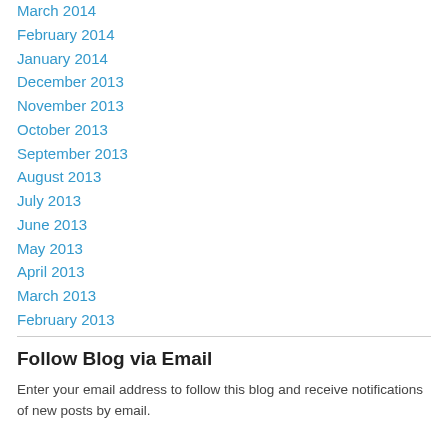March 2014
February 2014
January 2014
December 2013
November 2013
October 2013
September 2013
August 2013
July 2013
June 2013
May 2013
April 2013
March 2013
February 2013
Follow Blog via Email
Enter your email address to follow this blog and receive notifications of new posts by email.